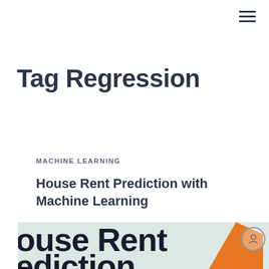≡
Tag Regression
MACHINE LEARNING
House Rent Prediction with Machine Learning
[Figure (illustration): Partially visible banner image showing large bold text 'House Rent Prediction' on a light mint/sage green background with an orange triangular house/roof shape on the right side and a circular avatar icon in the upper right corner.]